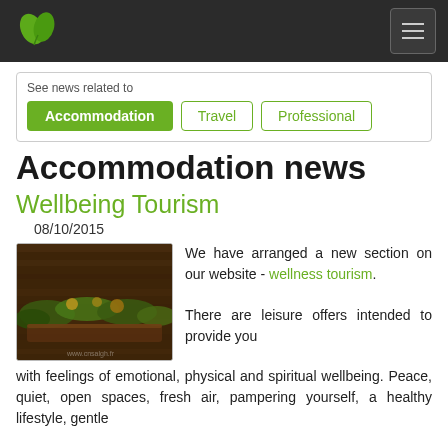See news related to
Accommodation | Travel | Professional
Accommodation news
Wellbeing Tourism
08/10/2015
[Figure (photo): Photo of herbs and wellness items on a wooden surface]
We have arranged a new section on our website - wellness tourism. There are leisure offers intended to provide you with feelings of emotional, physical and spiritual wellbeing. Peace, quiet, open spaces, fresh air, pampering yourself, a healthy lifestyle, gentle